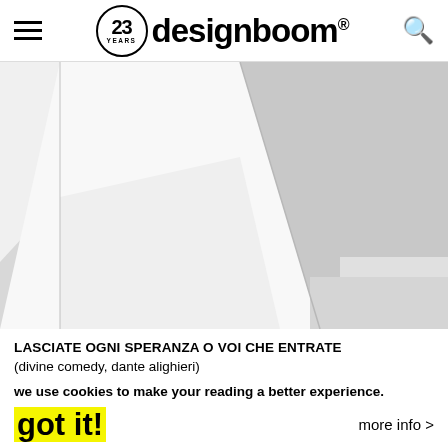designboom® 23 YEARS
[Figure (photo): Minimalist white architectural interior with geometric shapes and a small opening showing blue sky with clouds]
LASCIATE OGNI SPERANZA O VOI CHE ENTRATE
(divine comedy, dante alighieri)
we use cookies to make your reading a better experience.
got it!
more info >